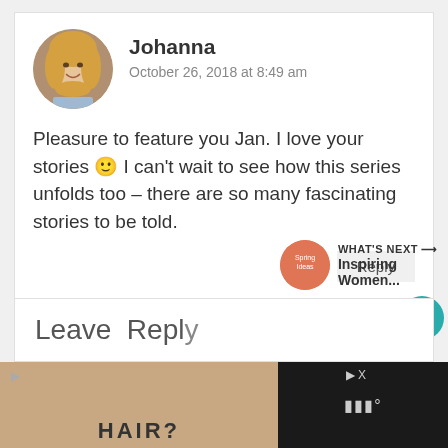[Figure (photo): Circular avatar photo of Johanna, a blonde woman smiling, outdoors]
Johanna
October 26, 2018 at 8:49 am
Pleasure to feature you Jan. I love your stories 🙂 I can't wait to see how this series unfolds too – there are so many fascinating stories to be told.
Reply
1
WHAT'S NEXT → Inspiring Women...
Leave R...
[Figure (photo): Ad banner with hair product image, dark background, text HAIR?]